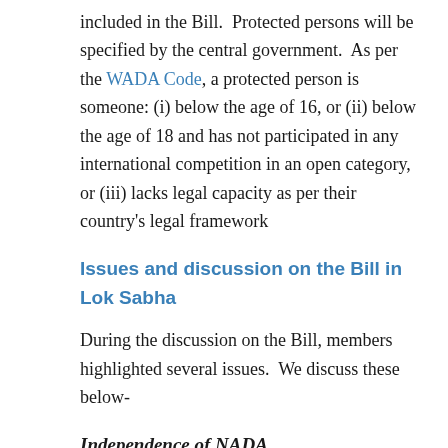included in the Bill. Protected persons will be specified by the central government. As per the WADA Code, a protected person is someone: (i) below the age of 16, or (ii) below the age of 18 and has not participated in any international competition in an open category, or (iii) lacks legal capacity as per their country's legal framework
Issues and discussion on the Bill in Lok Sabha
During the discussion on the Bill, members highlighted several issues. We discuss these below-
Independence of NADA
One of the issues highlighted was the independence of the Director General of NADA. WADA requires National Doping Organisations to be independent in their functioning as they may experience external pressure from their governments and national sports bodies, which could be